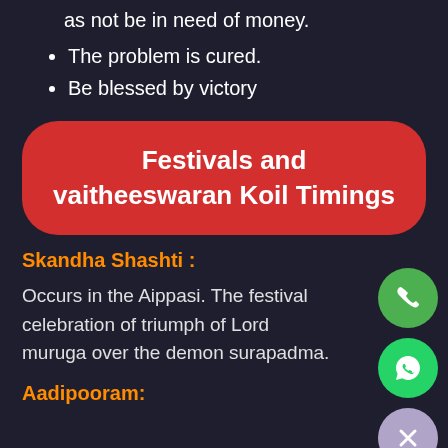Are blessed with health and wealth as well as not be in need of money.
The problem is cured.
Be blessed by victory
Festivals and vaitheeswaran Koil Timings
Skandha Shashti :
Occurs in the Aippasi. The festival celebration of triumph of Lord muruga over the demon surapadma.
Aadipooram: